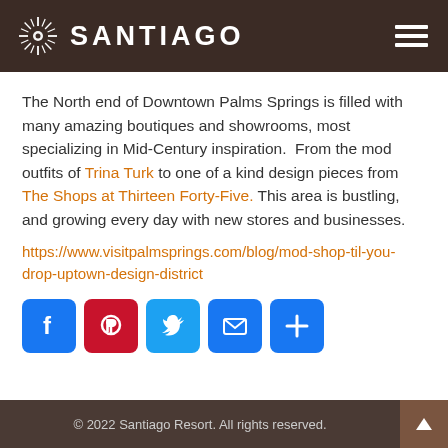SANTIAGO
The North end of Downtown Palms Springs is filled with many amazing boutiques and showrooms, most specializing in Mid-Century inspiration. From the mod outfits of Trina Turk to one of a kind design pieces from The Shops at Thirteen Forty-Five. This area is bustling, and growing every day with new stores and businesses.
https://www.visitpalmsprings.com/blog/mod-shop-til-you-drop-uptown-design-district
[Figure (infographic): Social sharing buttons: Facebook (blue), Pinterest (red), Twitter (light blue), Email (blue), Share/Plus (blue)]
© 2022 Santiago Resort. All rights reserved.